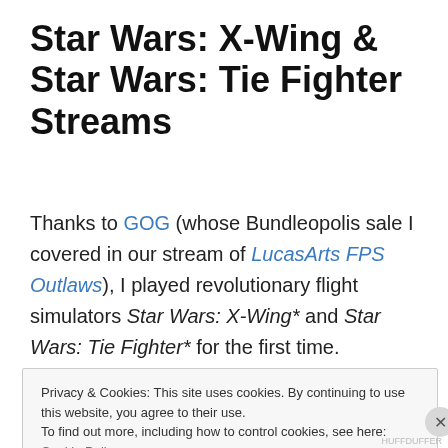Star Wars: X-Wing & Star Wars: Tie Fighter Streams
Thanks to GOG (whose Bundleopolis sale I covered in our stream of LucasArts FPS Outlaws), I played revolutionary flight simulators Star Wars: X-Wing* and Star Wars: Tie Fighter* for the first time.
If you’re interested in the design, history, and legacy of these games, or just want to see a grown man squeal after
Privacy & Cookies: This site uses cookies. By continuing to use this website, you agree to their use.
To find out more, including how to control cookies, see here: Cookie Policy
Close and accept